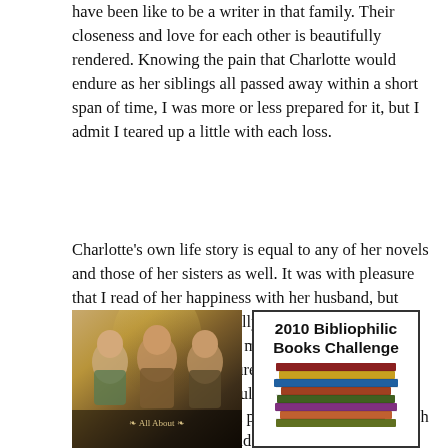have been like to be a writer in that family. Their closeness and love for each other is beautifully rendered. Knowing the pain that Charlotte would endure as her siblings all passed away within a short span of time, I was more or less prepared for it, but I admit I teared up a little with each loss.
Charlotte's own life story is equal to any of her novels and those of her sisters as well. It was with pleasure that I read of her happiness with her husband, but with sadness, too, especially for him, as I knew she did not live long after her marriage. If you like the Brontës, Victorian literature, or just books about books, my suggestion would be to read this book without delay. I found it a pleasure from start to finish and can hardly wait to read more of Syrie James's writing.
[Figure (photo): Painting of the Brontë sisters with decorative text 'All About' at the bottom]
[Figure (infographic): 2010 Bibliophilic Books Challenge badge with stacked books image]